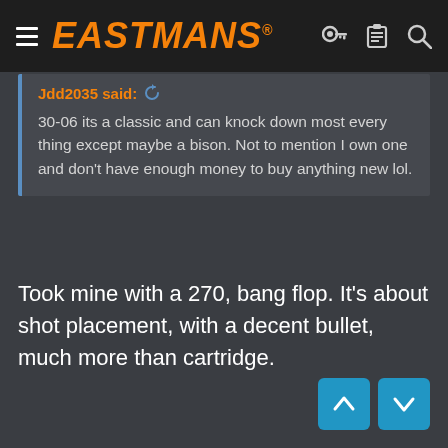EASTMANS
Jdd2035 said: ↺
30-06 its a classic and can knock down most every thing except maybe a bison. Not to mention I own one and don't have enough money to buy anything new lol.
Took mine with a 270, bang flop. It's about shot placement, with a decent bullet, much more than cartridge.